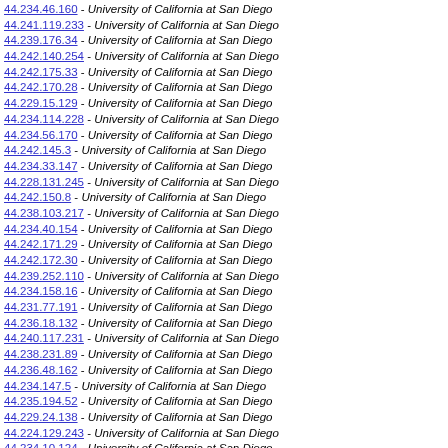44.234.46.160 - University of California at San Diego
44.241.119.233 - University of California at San Diego
44.239.176.34 - University of California at San Diego
44.242.140.254 - University of California at San Diego
44.242.175.33 - University of California at San Diego
44.242.170.28 - University of California at San Diego
44.229.15.129 - University of California at San Diego
44.234.114.228 - University of California at San Diego
44.234.56.170 - University of California at San Diego
44.242.145.3 - University of California at San Diego
44.234.33.147 - University of California at San Diego
44.228.131.245 - University of California at San Diego
44.242.150.8 - University of California at San Diego
44.238.103.217 - University of California at San Diego
44.234.40.154 - University of California at San Diego
44.242.171.29 - University of California at San Diego
44.242.172.30 - University of California at San Diego
44.239.252.110 - University of California at San Diego
44.234.158.16 - University of California at San Diego
44.231.77.191 - University of California at San Diego
44.236.18.132 - University of California at San Diego
44.240.117.231 - University of California at San Diego
44.238.231.89 - University of California at San Diego
44.236.48.162 - University of California at San Diego
44.234.147.5 - University of California at San Diego
44.235.194.52 - University of California at San Diego
44.229.24.138 - University of California at San Diego
44.224.129.243 - University of California at San Diego
44.234.10.124 - University of California at San Diego
44.234.99.213 - University of California at San Diego